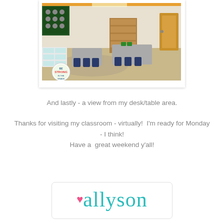[Figure (photo): Classroom interior photo showing student desks/tables arranged in a room with bulletin boards, shelving, rugs, and educational materials. A circular 'Be Strong' sign is visible in the lower left corner.]
And lastly - a view from my desk/table area.
Thanks for visiting my classroom - virtually!  I'm ready for Monday - I think!
Have a  great weekend y'all!
[Figure (illustration): Signature block with a pink heart and the cursive name 'allyson' in teal/turquoise script inside a rounded rectangle box.]